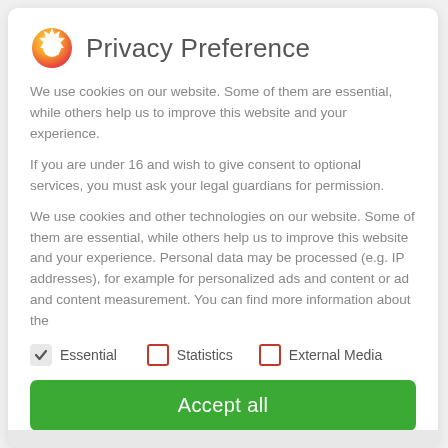Privacy Preference
We use cookies on our website. Some of them are essential, while others help us to improve this website and your experience.
If you are under 16 and wish to give consent to optional services, you must ask your legal guardians for permission.
We use cookies and other technologies on our website. Some of them are essential, while others help us to improve this website and your experience. Personal data may be processed (e.g. IP addresses), for example for personalized ads and content or ad and content measurement. You can find more information about the
Essential
Statistics
External Media
Accept all